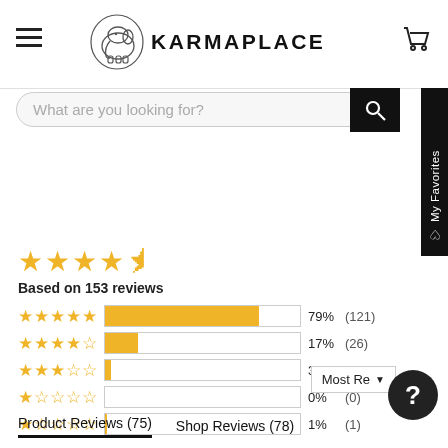[Figure (logo): KarmaPlace logo with elephant icon and wordmark]
What are you looking for?
★★★★½
Based on 153 reviews
[Figure (bar-chart): Rating distribution]
Most Re...
Product Reviews (75)    Shop Reviews (78)